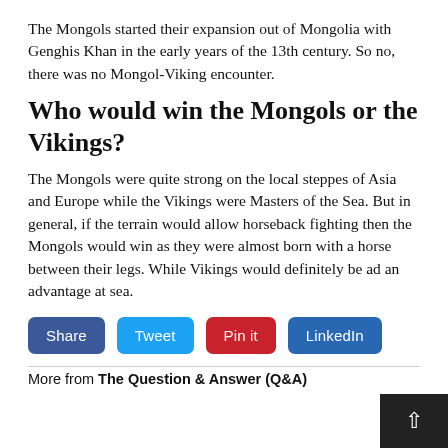The Mongols started their expansion out of Mongolia with Genghis Khan in the early years of the 13th century. So no, there was no Mongol-Viking encounter.
Who would win the Mongols or the Vikings?
The Mongols were quite strong on the local steppes of Asia and Europe while the Vikings were Masters of the Sea. But in general, if the terrain would allow horseback fighting then the Mongols would win as they were almost born with a horse between their legs. While Vikings would definitely be ad an advantage at sea.
[Figure (other): Social sharing buttons: Share (dark blue), Tweet (light blue), Pin it (red), LinkedIn (blue)]
More from The Question & Answer (Q&A)